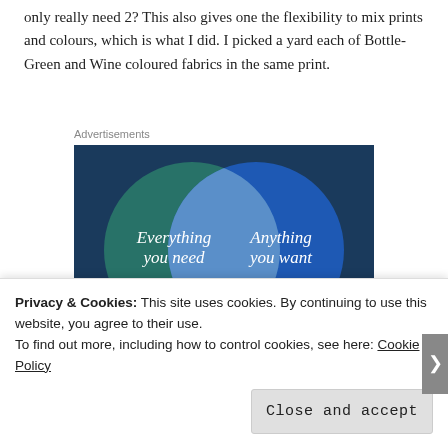only really need 2?  This also gives one the flexibility to mix prints and colours, which is what I did.  I picked a yard each of Bottle-Green and Wine coloured fabrics in the same print.
Advertisements
[Figure (infographic): Venn diagram advertisement with two overlapping circles on a dark blue-green background. Left circle (teal/green) contains text 'Everything you need'. Right circle (blue) contains text 'Anything you want'. The overlapping region is lighter blue/white. A pink button is partially visible at the bottom.]
Privacy & Cookies: This site uses cookies. By continuing to use this website, you agree to their use.
To find out more, including how to control cookies, see here: Cookie Policy
Close and accept